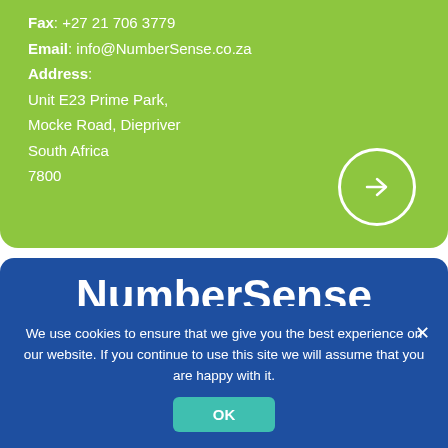Fax: +27 21 706 3779
Email: info@NumberSense.co.za
Address:
Unit E23 Prime Park,
Mocke Road, Diepriver
South Africa
7800
[Figure (other): Circular arrow button (right arrow inside white circle outline on green background)]
NumberSense
Mathematics Programme
[Figure (photo): Row of NumberSense workbook covers shown at angles on blue background]
We use cookies to ensure that we give you the best experience on our website. If you continue to use this site we will assume that you are happy with it.
OK